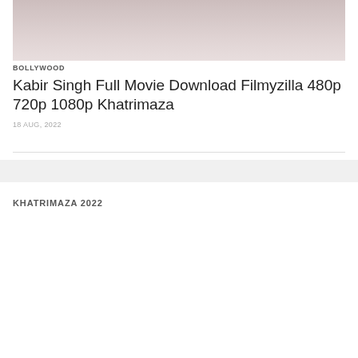[Figure (photo): Partial photo of a person, cropped at top showing face/upper body with dark tones and reddish-pink tones, faded at edges]
BOLLYWOOD
Kabir Singh Full Movie Download Filmyzilla 480p 720p 1080p Khatrimaza
18 AUG, 2022
KHATRIMAZA 2022